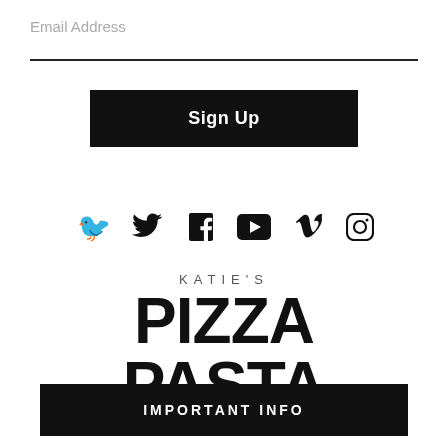Email Address
Sign Up
[Figure (illustration): Social media icons: Twitter, Facebook, YouTube, Vimeo, Instagram]
[Figure (logo): Katie's Pizza Pasta Osteria logo in bold black text]
IMPORTANT INFO